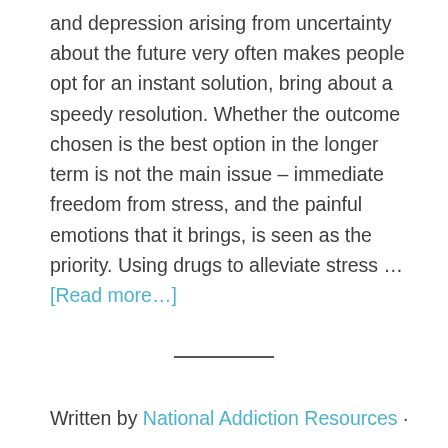and depression arising from uncertainty about the future very often makes people opt for an instant solution, bring about a speedy resolution. Whether the outcome chosen is the best option in the longer term is not the main issue – immediate freedom from stress, and the painful emotions that it brings, is seen as the priority. Using drugs to alleviate stress ... [Read more...]
Written by National Addiction Resources ·